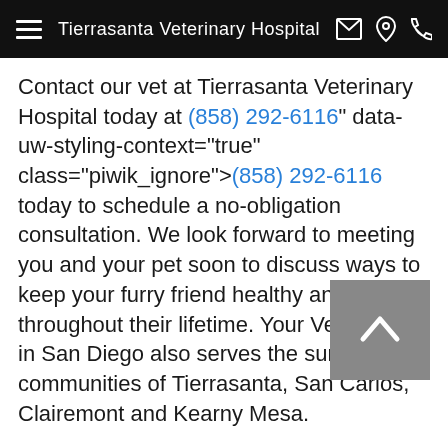Tierrasanta Veterinary Hospital
Contact our vet at Tierrasanta Veterinary Hospital today at (858) 292-6116" data-uw-styling-context="true" class="piwik_ignore">(858) 292-6116 today to schedule a no-obligation consultation. We look forward to meeting you and your pet soon to discuss ways to keep your furry friend healthy and happy throughout their lifetime. Your Veterinarian in San Diego also serves the surrounding communities of Tierrasanta, San Carlos, Clairemont and Kearny Mesa.